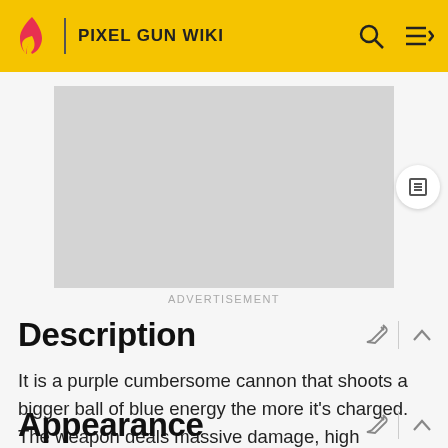PIXEL GUN WIKI
[Figure (other): Advertisement placeholder (grey rectangle)]
ADVERTISEMENT
Description
It is a purple cumbersome cannon that shoots a bigger ball of blue energy the more it's charged. The weapon deals massive damage, high capacity, and rather low mobility. This weapon is a 1 shot kill when fully charged.
Appearance